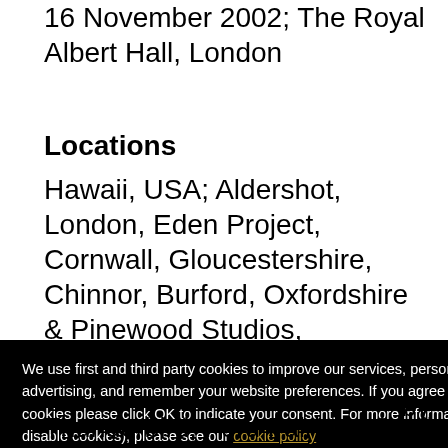16 November 2002; The Royal Albert Hall, London
Locations
Hawaii, USA; Aldershot, London, Eden Project, Cornwall, Gloucestershire, Chinnor, Burford, Oxfordshire & Pinewood Studios, England;Penbryn Beach, Ceredigion, Wales; Iceland; Cadiz, Spain
We use first and third party cookies to improve our services, personalize your advertising, and remember your website preferences. If you agree to the use of cookies please click OK to indicate your consent. For more information (e.g. how to disable cookies), please see our cookie policy
OK
Decline
by
Thunderbird; Ford Fairlane Sunliner, Range Rover